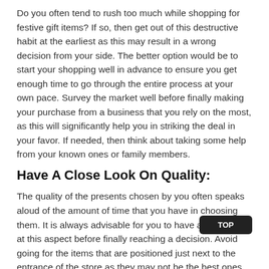Do you often tend to rush too much while shopping for festive gift items? If so, then get out of this destructive habit at the earliest as this may result in a wrong decision from your side. The better option would be to start your shopping well in advance to ensure you get enough time to go through the entire process at your own pace. Survey the market well before finally making your purchase from a business that you rely on the most, as this will significantly help you in striking the deal in your favor. If needed, then think about taking some help from your known ones or family members.
Have A Close Look On Quality:
The quality of the presents chosen by you often speaks aloud of the amount of time that you have in choosing them. It is always advisable for you to have a close look at this aspect before finally reaching a decision. Avoid going for the items that are positioned just next to the entrance of the store as they may not be the best ones that you can find.